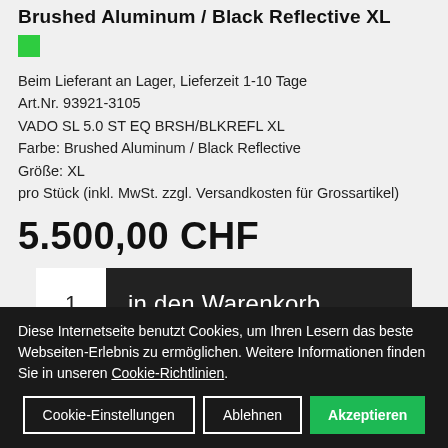Brushed Aluminum / Black Reflective XL
[Figure (other): Green availability indicator square]
Beim Lieferant an Lager, Lieferzeit 1-10 Tage
Art.Nr. 93921-3105
VADO SL 5.0 ST EQ BRSH/BLKREFL XL
Farbe: Brushed Aluminum / Black Reflective
Größe: XL
pro Stück (inkl. MwSt. zzgl. Versandkosten für Grossartikel)
5.500,00 CHF
1  in den Warenkorb
Diese Internetseite benutzt Cookies, um Ihren Lesern das beste Webseiten-Erlebnis zu ermöglichen. Weitere Informationen finden Sie in unseren Cookie-Richtlinien.
Cookie-Einstellungen    Ablehnen    Akzeptieren